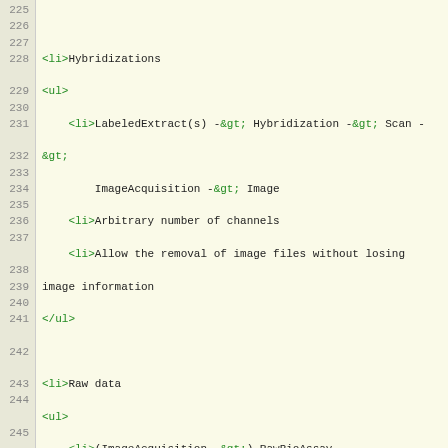Code listing showing XML/HTML-like markup for bioinformatics data structure (lines 225-249), covering Hybridizations, Raw data sections with sub-elements including LabeledExtract, ImageAcquisition, RawBioAssay, ArrayDesign, and spot image creation details.